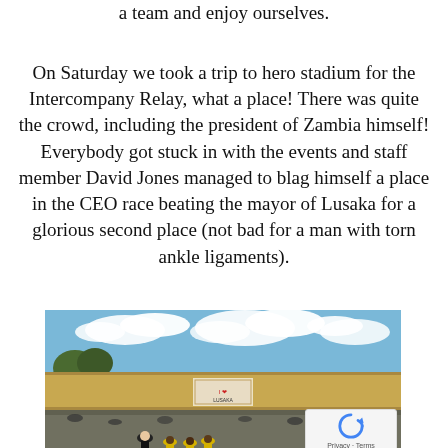a team and enjoy ourselves.
On Saturday we took a trip to hero stadium for the Intercompany Relay, what a place! There was quite the crowd, including the president of Zambia himself! Everybody got stuck in with the events and staff member David Jones managed to blag himself a place in the CEO race beating the mayor of Lusaka for a glorious second place (not bad for a man with torn ankle ligaments).
[Figure (photo): Outdoor photo at a sports ground or stadium court area in Zambia. People including children in yellow vests and a woman are visible in the foreground on a tarmac surface. A painted concrete wall is in the background with a sign reading 'I love Lusaka'. Trees and blue sky with white clouds are visible above.]